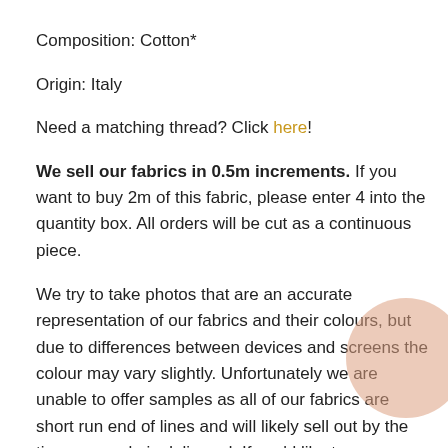Composition: Cotton*
Origin: Italy
Need a matching thread? Click here!
We sell our fabrics in 0.5m increments. If you want to buy 2m of this fabric, please enter 4 into the quantity box. All orders will be cut as a continuous piece.
We try to take photos that are an accurate representation of our fabrics and their colours, but due to differences between devices and screens the colour may vary slightly. Unfortunately we are unable to offer samples as all of our fabrics are short run end of lines and will likely sell out by the time a sample is delivered. If you'd like to see a video of the fabric or more photos please send us an email or send us a DM on instagram @newcrafthouse. If you are in London, you can also shop our fabric in person. You can find our opening times here.